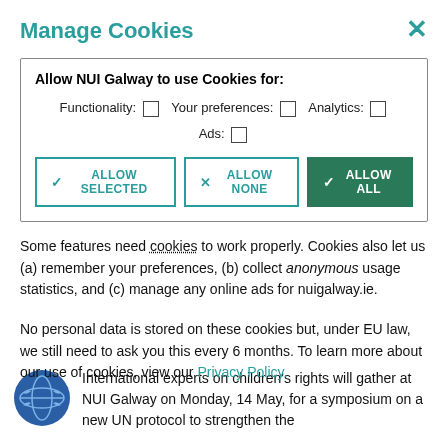Manage Cookies
Allow NUI Galway to use Cookies for: Functionality: ☐  Your preferences: ☐  Analytics: ☐  Ads: ☐   [ALLOW SELECTED]  [ALLOW NONE]  [ALLOW ALL]
Some features need cookies to work properly. Cookies also let us (a) remember your preferences, (b) collect anonymous usage statistics, and (c) manage any online ads for nuigalway.ie.
No personal data is stored on these cookies but, under EU law, we still need to ask you this every 6 months. To learn more about our use of cookies, view our Privacy Policy.
International experts on children's rights will gather at NUI Galway on Monday, 14 May, for a symposium on a new UN protocol to strengthen the